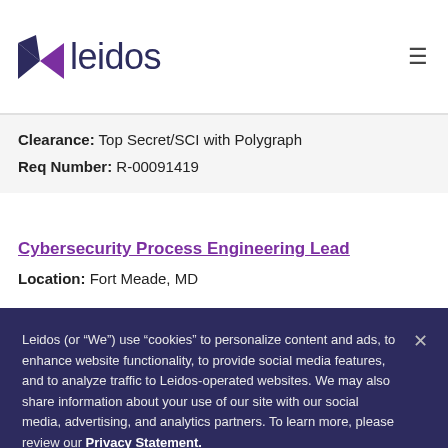[Figure (logo): Leidos company logo with purple/dark triangle arrow and company name 'leidos' in dark navy text]
Clearance: Top Secret/SCI with Polygraph
Req Number: R-00091419
Cybersecurity Process Engineering Lead
Location: Fort Meade, MD
Leidos (or “We”) use “cookies” to personalize content and ads, to enhance website functionality, to provide social media features, and to analyze traffic to Leidos-operated websites. We may also share information about your use of our site with our social media, advertising, and analytics partners. To learn more, please review our Privacy Statement.
Set your cookie preferences